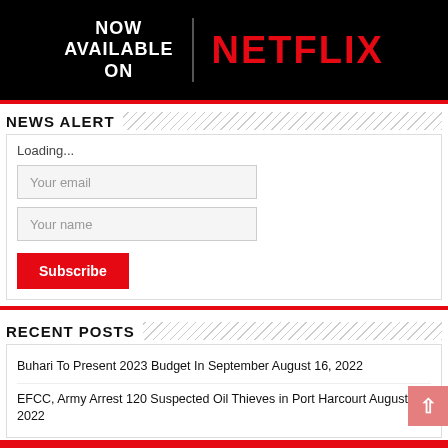[Figure (logo): Netflix promotional banner: black background with white text 'NOW AVAILABLE ON' and red Netflix logo text]
NEWS ALERT
Loading...
Your email
Your name
Subscribe
RECENT POSTS
Buhari To Present 2023 Budget In September August 16, 2022
EFCC, Army Arrest 120 Suspected Oil Thieves in Port Harcourt August 15, 2022